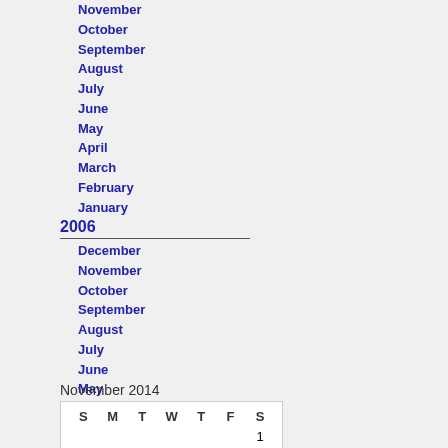November
October
September
August
July
June
May
April
March
February
January
2006
December
November
October
September
August
July
June
May
April
March
November 2014
| S | M | T | W | T | F | S |
| --- | --- | --- | --- | --- | --- | --- |
|  |  |  |  |  |  | 1 |
| 2 | 3 | 4 | 5 | 6 | 7 | 8 |
| 9 | 10 | 11 | 12 | 13 | 14 | 15 |
| 16 | 17 | 18 | 19 | 20 | 21 | 22 |
| 23 | 24 | 25 | 26 | 27 | 28 | 29 |
| 30 |  |  |  |  |  |  |